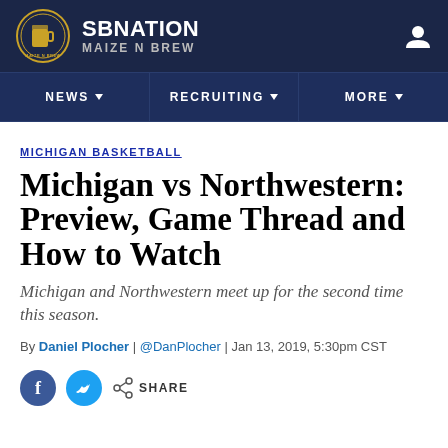SB Nation — Maize N Brew
MICHIGAN BASKETBALL
Michigan vs Northwestern: Preview, Game Thread and How to Watch
Michigan and Northwestern meet up for the second time this season.
By Daniel Plocher | @DanPlocher | Jan 13, 2019, 5:30pm CST